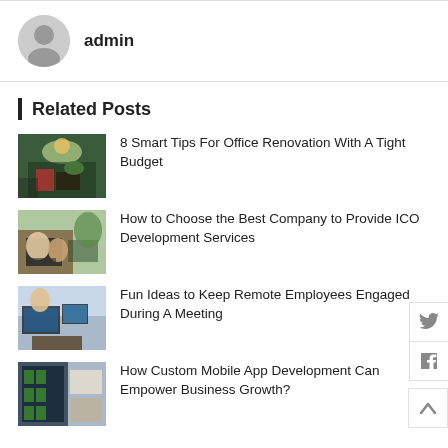[Figure (illustration): Author avatar – grey circular person silhouette icon]
admin
Related Posts
[Figure (photo): Office with plants, person at desk with pendant light]
8 Smart Tips For Office Renovation With A Tight Budget
[Figure (photo): Two people working on laptop in office with plants]
How to Choose the Best Company to Provide ICO Development Services
[Figure (photo): Person at multi-monitor workstation, remote work setup]
Fun Ideas to Keep Remote Employees Engaged During A Meeting
[Figure (photo): Mobile app development concept, city and phone screens]
How Custom Mobile App Development Can Empower Business Growth?